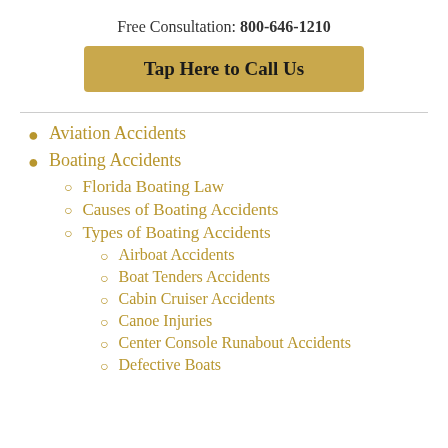Free Consultation: 800-646-1210
Tap Here to Call Us
Aviation Accidents
Boating Accidents
Florida Boating Law
Causes of Boating Accidents
Types of Boating Accidents
Airboat Accidents
Boat Tenders Accidents
Cabin Cruiser Accidents
Canoe Injuries
Center Console Runabout Accidents
Defective Boats